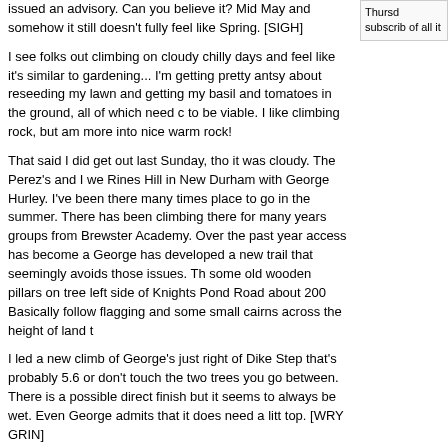issued an advisory. Can you believe it? Mid May and somehow it still doesn't fully feel like Spring. [SIGH]
I see folks out climbing on cloudy chilly days and feel like it's similar to gardening... I'm getting pretty antsy about reseeding my lawn and getting my basil and tomatoes in the ground, all of which need c to be viable. I like climbing rock, but am more into nice warm rock!
That said I did get out last Sunday, tho it was cloudy. The Perez's and I we Rines Hill in New Durham with George Hurley. I've been there many times place to go in the summer. There has been climbing there for many years groups from Brewster Academy. Over the past year access has become a George has developed a new trail that seemingly avoids those issues. Th some old wooden pillars on tree left side of Knights Pond Road about 200 Basically follow flagging and some small cairns across the height of land t
I led a new climb of George's just right of Dike Step that's probably 5.6 or don't touch the two trees you go between. There is a possible direct finish but it seems to always be wet. Even George admits that it does need a litt top. [WRY GRIN]
We also climbed Dike Steps, Groovy, Layback and Buddha. I've always st Buddah, but this time found the high side pull on the right that seems to b While I hadn't had any ticks on me so far this year, I got several on the wa well. We spotted quite a lot of deer-pellets so I suppose it's not surprising.
It looks as if the weather this weekend might actually be nice, so hopefully locally on Saturday. Here are some pix from Rines Hill.
http://www.neclimbs.com/wmr_pix/20190516/RinesHill_1.jpg
http://www.neclimbs.com/wmr_pix/20190516/RinesHill_6.jpg